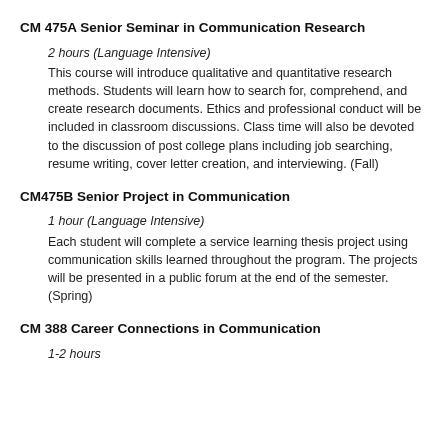CM 475A Senior Seminar in Communication Research
2 hours (Language Intensive)
This course will introduce qualitative and quantitative research methods. Students will learn how to search for, comprehend, and create research documents. Ethics and professional conduct will be included in classroom discussions. Class time will also be devoted to the discussion of post college plans including job searching, resume writing, cover letter creation, and interviewing. (Fall)
CM475B Senior Project in Communication
1 hour (Language Intensive)
Each student will complete a service learning thesis project using communication skills learned throughout the program. The projects will be presented in a public forum at the end of the semester. (Spring)
CM 388 Career Connections in Communication
1-2 hours